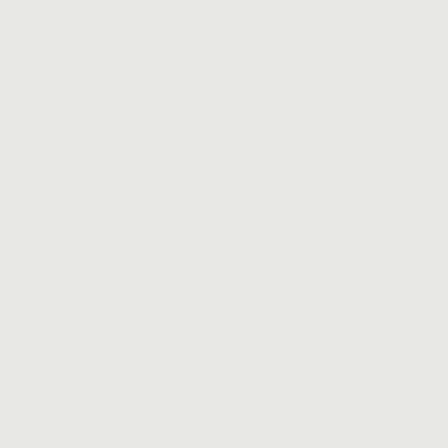which was made accessible and before print publications individual website ( http://w has been a most welcome pl international readership. The 2005 April [13] (fr.wikipedia), (en.wikipedia), initially a trans pages for Mandombe give th illustrations, with basically no important sources for this pa Wikipedia-page has undergo to conserve the data, before removed in the same way.
<25> The World Wide Web is still t knowledge about Mandombe communities it has reached t second millennium. From the France (Mahouahoua 2000, 2004), Germany (Pasch 200 one of the Gospels was print In the francophone countries and yearly conferences has t Liège 2009 ( http://www.m
<26> The production of print publio